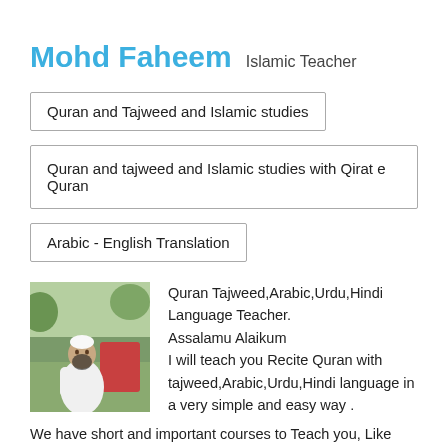Mohd Faheem  Islamic Teacher
Quran and Tajweed and Islamic studies
Quran and tajweed and Islamic studies with Qirat e Quran
Arabic - English Translation
[Figure (photo): Photo of Mohd Faheem, a man wearing white traditional Islamic clothing and a white cap, seated outdoors in a park setting]
Quran Tajweed,Arabic,Urdu,Hindi Language Teacher.
Assalamu Alaikum
I will teach you Recite Quran with tajweed,Arabic,Urdu,Hindi language in a very simple and easy way .
We have short and important courses to Teach you, Like basic Islamic Agaid, Seerat-un-Nabi(Life of